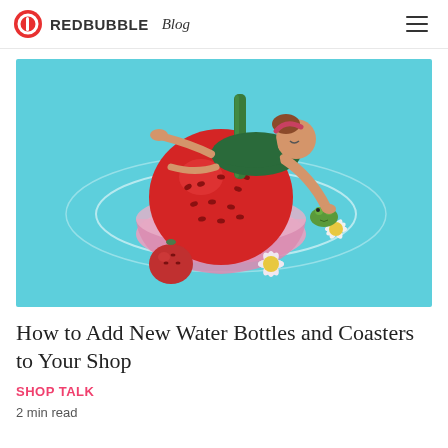REDBUBBLE Blog
[Figure (illustration): Illustration of a woman in a green swimsuit lying on top of a giant red strawberry in a pink cup, on a cyan/turquoise background, with flowers and a small frog nearby.]
How to Add New Water Bottles and Coasters to Your Shop
SHOP TALK
2 min read